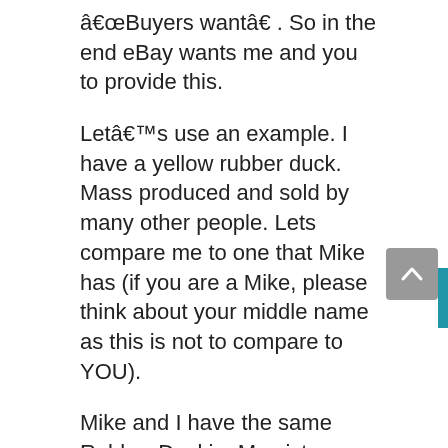â€œBuyers wantâ€ . So in the end eBay wants me and you to provide this.
Letâ€™s use an example. I have a yellow rubber duck. Mass produced and sold by many other people. Lets compare me to one that Mike has (if you are a Mike, please think about your middle name as this is not to compare to YOU).
Mike and I have the same Rubber Duckie. My pictures rock, his do not. I have a store, positive feedback, top rated seller, all the bells and whistles. Mikey does not...his pictures are lousy, his feedback is borderline, he has no store, no top rated seller. I offer free shipping, he does not. On and on and on. He will lose out overall I feel.